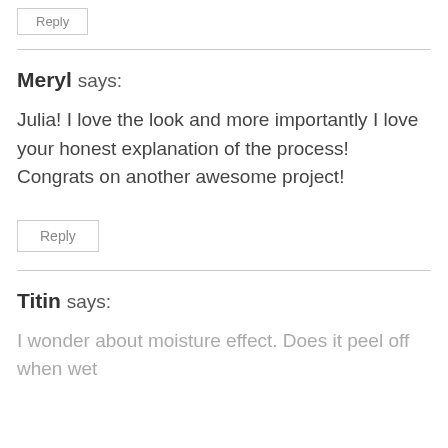Reply
Meryl says:
Julia! I love the look and more importantly I love your honest explanation of the process! Congrats on another awesome project!
Reply
Titin says:
I wonder about moisture effect. Does it peel off when wet